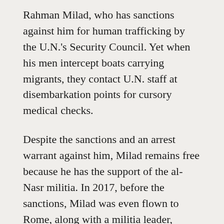Rahman Milad, who has sanctions against him for human trafficking by the U.N.'s Security Council. Yet when his men intercept boats carrying migrants, they contact U.N. staff at disembarkation points for cursory medical checks.
Despite the sanctions and an arrest warrant against him, Milad remains free because he has the support of the al-Nasr militia. In 2017, before the sanctions, Milad was even flown to Rome, along with a militia leader, Mohammed al-Khoja, as part of a Libyan delegation for a U.N.-sponsored migration meeting. In response to the sanctions, Milad denied any links to human smuggling and said traffickers wear uniforms similar to those of his men.
Migrants named at least two other operations along the coast, at Zuwara and Tripoli, that they said operated